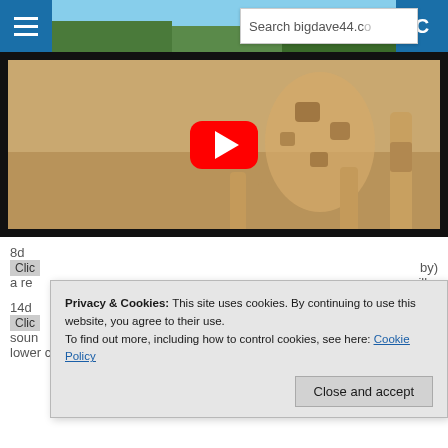Search bigdave44.c...
[Figure (screenshot): YouTube video thumbnail showing a baby giraffe standing on straw, with a red YouTube play button overlay in the center]
8d
Clic... by) a re... ille.
14d
Clic... swer sour... all in lower case the clue wouldn't work.
Privacy & Cookies: This site uses cookies. By continuing to use this website, you agree to their use. To find out more, including how to control cookies, see here: Cookie Policy
Close and accept